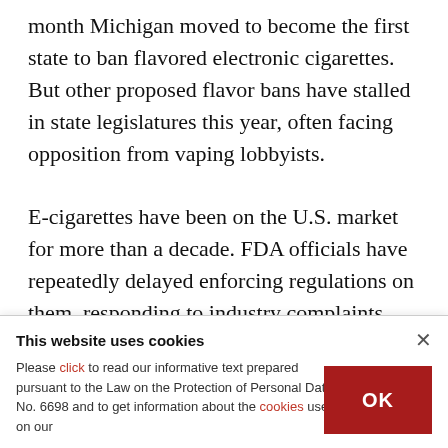month Michigan moved to become the first state to ban flavored electronic cigarettes. But other proposed flavor bans have stalled in state legislatures this year, often facing opposition from vaping lobbyists.

E-cigarettes have been on the U.S. market for more than a decade. FDA officials have repeatedly delayed enforcing regulations on them, responding to industry complaints that it would wipe out
This website uses cookies
Please click to read our informative text prepared pursuant to the Law on the Protection of Personal Data No. 6698 and to get information about the cookies used on our